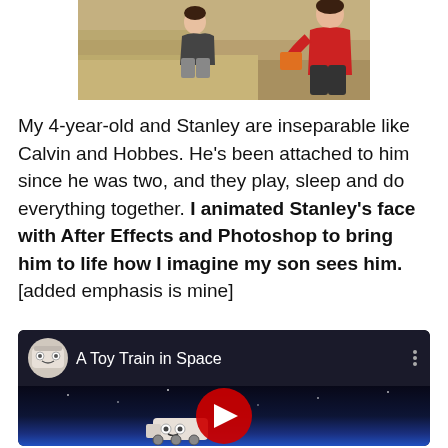[Figure (photo): Photo of an adult in red shirt crouching with a young child outdoors on dry ground, partially cropped at top of page]
My 4-year-old and Stanley are inseparable like Calvin and Hobbes. He's been attached to him since he was two, and they play, sleep and do everything together. I animated Stanley's face with After Effects and Photoshop to bring him to life how I imagine my son sees him. [added emphasis is mine]
[Figure (screenshot): YouTube video thumbnail showing a toy train in space, titled 'A Toy Train in Space' with a dark space background and YouTube play button]